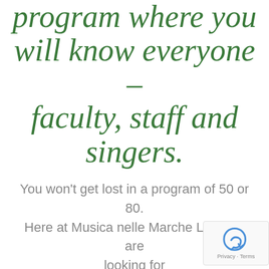program where you will know everyone – faculty, staff and singers.
You won't get lost in a program of 50 or 80. Here at Musica nelle Marche LLC, we are looking for a maximum of 16 serious singers interested in an Italian language and cultural experience.
[Figure (other): reCAPTCHA badge with Privacy and Terms link]